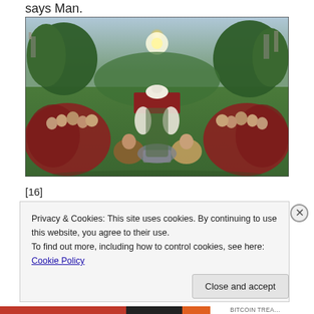says Man.
[Figure (illustration): The Adoration of the Mystic Lamb (Ghent Altarpiece) by Jan van Eyck — a large Renaissance painting depicting crowds of figures in red and earth-toned robes converging on a central altar with a lamb atop it, set in a lush green landscape with a golden radiance above, city and trees in the background.]
[16]
Privacy & Cookies: This site uses cookies. By continuing to use this website, you agree to their use.
To find out more, including how to control cookies, see here: Cookie Policy
Close and accept